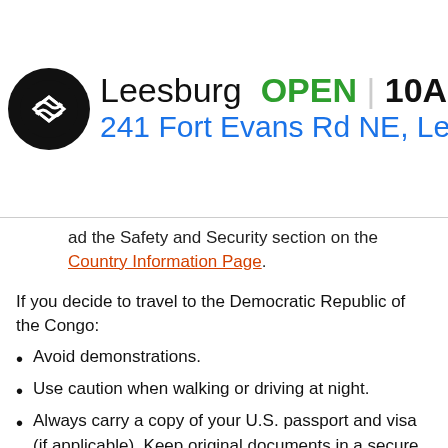[Figure (other): Advertisement banner for Leesburg store showing logo, OPEN status, hours 10AM-9PM, address 241 Fort Evans Rd NE, Leesburg, and navigation icon]
ad the Safety and Security section on the Country Information Page.
If you decide to travel to the Democratic Republic of the Congo:
Avoid demonstrations.
Use caution when walking or driving at night.
Always carry a copy of your U.S. passport and visa (if applicable). Keep original documents in a secure location.
Visit the CDC Travel Notice on Ebola in Democratic Republic of the Congo, which has information on this outbreak.
Visit the CDC Travelers' Health Page for the Democratic Republic of the Congo, which includes